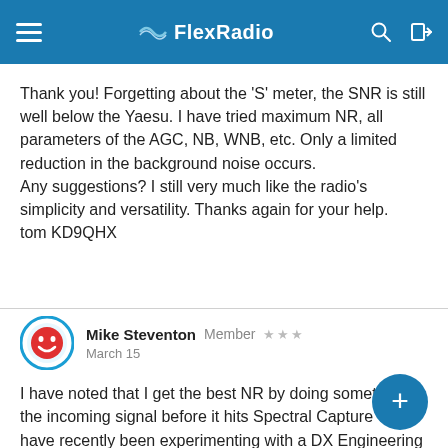FlexRadio
Thank you! Forgetting about the 'S' meter, the SNR is still well below the Yaesu. I have tried maximum NR, all parameters of the AGC, NB, WNB, etc. Only a limited reduction in the background noise occurs.
Any suggestions? I still very much like the radio's simplicity and versatility. Thanks again for your help.
tom KD9QHX
Mike Steventon  Member  ★★★
March 15
I have noted that I get the best NR by doing something to the incoming signal before it hits Spectral Capture Unit. I have recently been experimenting with a DX Engineering NCC-2 signal Phasing unit and an active magnetic loop "noise"